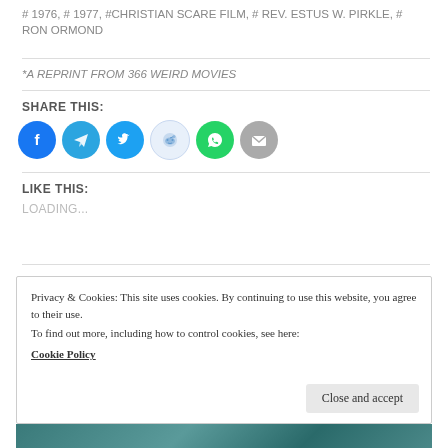# 1976, # 1977, #CHRISTIAN SCARE FILM, # REV. ESTUS W. PIRKLE, # RON ORMOND
*A REPRINT FROM 366 WEIRD MOVIES
SHARE THIS:
[Figure (infographic): Row of social media share icons: Facebook (blue), Telegram (blue), Twitter (blue), Reddit (light blue/white), WhatsApp (green), Email (gray)]
LIKE THIS:
LOADING...
Privacy & Cookies: This site uses cookies. By continuing to use this website, you agree to their use.
To find out more, including how to control cookies, see here:
Cookie Policy
Close and accept